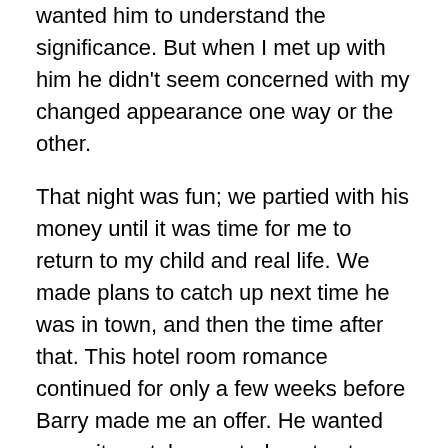wanted him to understand the significance. But when I met up with him he didn't seem concerned with my changed appearance one way or the other.
That night was fun; we partied with his money until it was time for me to return to my child and real life. We made plans to catch up next time he was in town, and then the time after that. This hotel room romance continued for only a few weeks before Barry made me an offer. He wanted commitment, he wanted me to stop working and he was prepared to put his money where his mouth was. I didn't want to give up sex work but if he was prepared to financially support me I would consider it, who wouldn't be tempted by not having to go to work right? He told me he was sick of hotel rooms and after working hard all month he wanted to come back to a home. He offered to rent a nice house for me and my son so that he could stay there